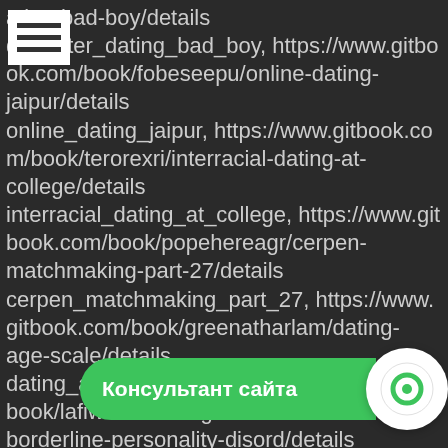[Figure (other): Hamburger menu icon (three horizontal bars) in white rectangle top-left]
ating-bad-boy/details daughter_dating_bad_boy, https://www.gitbook.com/book/fobeseepu/online-dating-jaipur/details online_dating_jaipur, https://www.gitbook.com/book/terorexri/interracial-dating-at-college/details interracial_dating_at_college, https://www.gitbook.com/book/popehereagr/cerpen-matchmaking-part-27/details cerpen_matchmaking_part_27, https://www.gitbook.com/book/greenatharlam/dating-age-scale/details dating_age_scale, https://www.gitbook.com/book/lafiwarco/dating-someone-with-borderline-personality-disord/details dating_someone_with_borderline_personality_disorder, https://www.gitbook.com/book/coepranpilria/ff7-dating-guide/details ff7_dating_guide, https://www.gitbook.com/book/.../websites-for-over-50s/details dating_websites_for_over_50s
[Figure (other): Green consultant chat widget bar at bottom with text 'Консультант сайта' and circular icon]